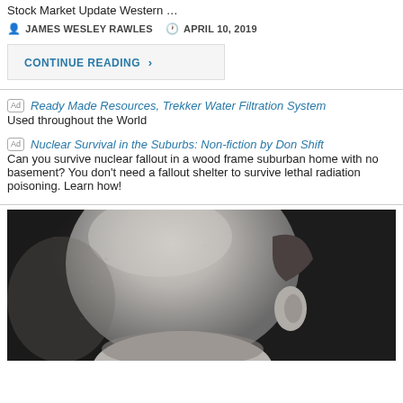Stock Market Update Western …
JAMES WESLEY RAWLES   APRIL 10, 2019
CONTINUE READING ›
Ad  Ready Made Resources, Trekker Water Filtration System
Used throughout the World
Ad  Nuclear Survival in the Suburbs: Non-fiction by Don Shift
Can you survive nuclear fallout in a wood frame suburban home with no basement? You don't need a fallout shelter to survive lethal radiation poisoning. Learn how!
[Figure (photo): Black and white close-up photograph of a bald man's head, partially cut off at the bottom of the page.]